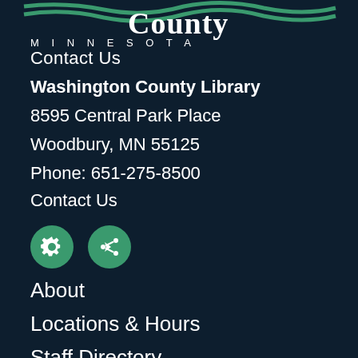[Figure (logo): Washington County Minnesota logo with green wave and 'County MINNESOTA' text]
Contact Us
Washington County Library
8595 Central Park Place
Woodbury, MN 55125
Phone: 651-275-8500
Contact Us
[Figure (other): Two green circular icon buttons: settings/gear icon and share icon]
About
Locations & Hours
Staff Directory
Job Openings
Donate
Volunteer